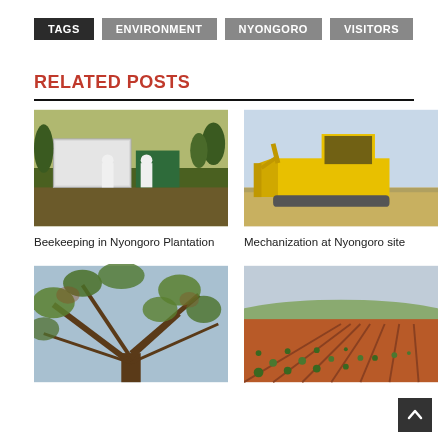TAGS  ENVIRONMENT  NYONGORO  VISITORS
RELATED POSTS
[Figure (photo): Two workers in white protective suits near a white shipping container and green storage unit in a bush/plantation setting. Beekeeping in Nyongoro Plantation.]
Beekeeping in Nyongoro Plantation
[Figure (photo): A large yellow bulldozer/earth-moving machine parked on dry grassland at Nyongoro site.]
Mechanization at Nyongoro site
[Figure (photo): Close-up view looking up at a large tree with spreading branches and foliage.]
[Figure (photo): Rows of young trees/shrubs planted in red-orange soil at a plantation site, with hills in the background.]